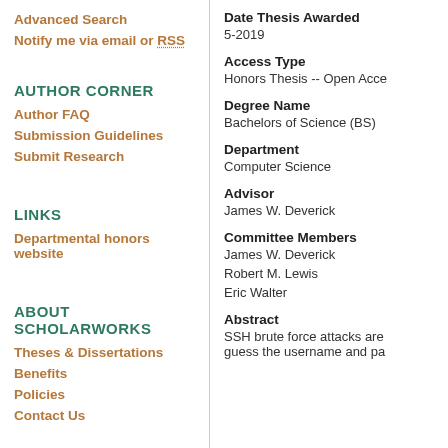Advanced Search
Notify me via email or RSS
AUTHOR CORNER
Author FAQ
Submission Guidelines
Submit Research
LINKS
Departmental honors website
ABOUT SCHOLARWORKS
Theses & Dissertations
Benefits
Policies
Contact Us
Date Thesis Awarded
5-2019
Access Type
Honors Thesis -- Open Acce
Degree Name
Bachelors of Science (BS)
Department
Computer Science
Advisor
James W. Deverick
Committee Members
James W. Deverick
Robert M. Lewis
Eric Walter
Abstract
SSH brute force attacks are... guess the username and pa...